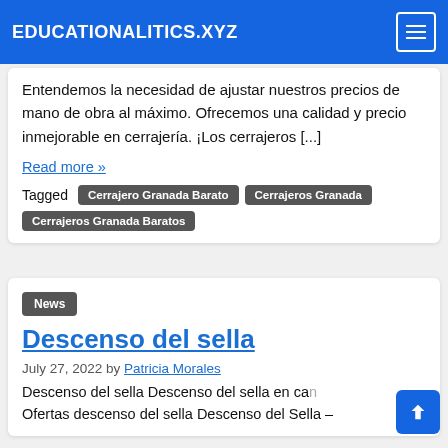EDUCATIONALITICS.XYZ
Entendemos la necesidad de ajustar nuestros precios de mano de obra al máximo. Ofrecemos una calidad y precio inmejorable en cerrajería. ¡Los cerrajeros [...]
Read more »
Tagged  Cerrajero Granada Barato  Cerrajeros Granada  Cerrajeros Granada Baratos
News
Descenso del sella
July 27, 2022 by Patricia Morales
Descenso del sella Descenso del sella en ca... Ofertas descenso del sella Descenso del Sella –